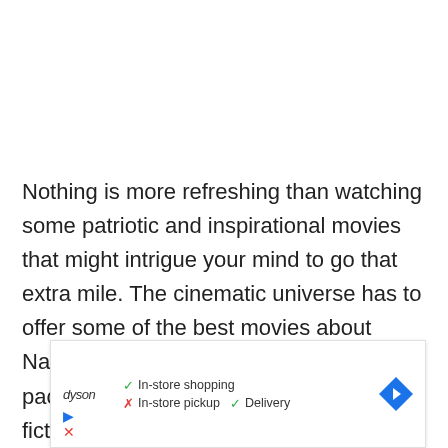Nothing is more refreshing than watching some patriotic and inspirational movies that might intrigue your mind to go that extra mile. The cinematic universe has to offer some of the best movies about Navy SEALs which are intense and packed with actions, in which some are fictional, and some are based on true stories.
[Figure (other): Advertisement overlay showing Dyson brand with store information: In-store shopping (check), In-store pickup (cross), Delivery (check), and a blue diamond navigation arrow icon.]